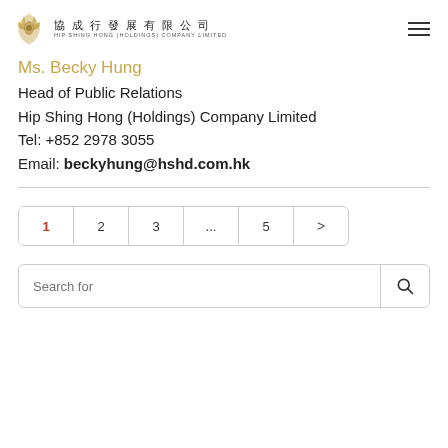協成行發展有限公司 Hip Shing Hong (Holdings) Company Limited
Ms. Becky Hung
Head of Public Relations
Hip Shing Hong (Holdings) Company Limited
Tel: +852 2978 3055
Email: beckyhung@hshd.com.hk